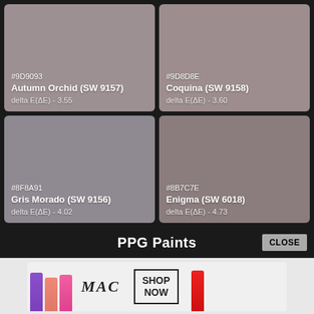[Figure (infographic): Four paint color swatches in a 2x2 grid on dark background. Top-left: #9D9093 Autumn Orchid (SW 9157) delta E 3.55. Top-right: #9D8D8E Coquina (SW 9158) delta E 3.60. Bottom-left: #8F8A91 Gris Morado (SW 9156) delta E 4.02. Bottom-right: #8B7C7E Enigma (SW 6018) delta E 4.73.]
PPG Paints
[Figure (photo): MAC cosmetics advertisement banner showing colorful lipsticks (purple, pink, hot pink, red) with MAC logo text and SHOP NOW button box.]